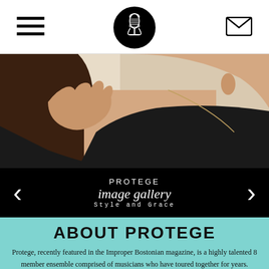Navigation header with hamburger menu, microphone logo, and mail icon
[Figure (photo): Close-up photo of a woman with dark hair, wearing a black top, holding her collar, with a necklace visible]
PROTEGE image gallery Style and Grace
ABOUT PROTEGE
Protege, recently featured in the Improper Bostonian magazine, is a highly talented 8 member ensemble comprised of musicians who have toured together for years. Protege's vocalists have a charisma and vocal blend that makes every